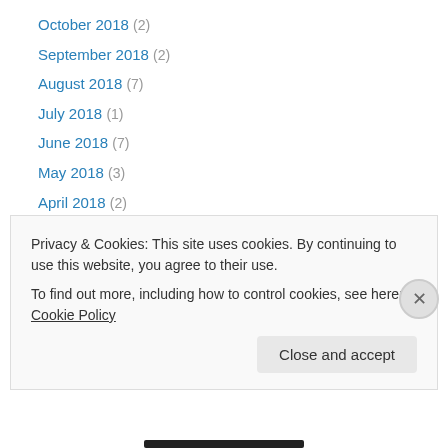October 2018 (2)
September 2018 (2)
August 2018 (7)
July 2018 (1)
June 2018 (7)
May 2018 (3)
April 2018 (2)
March 2018 (5)
February 2018 (7)
January 2018 (6)
December 2017 (5)
November 2017 (3)
October 2017 (2)
Privacy & Cookies: This site uses cookies. By continuing to use this website, you agree to their use.
To find out more, including how to control cookies, see here: Cookie Policy
Close and accept